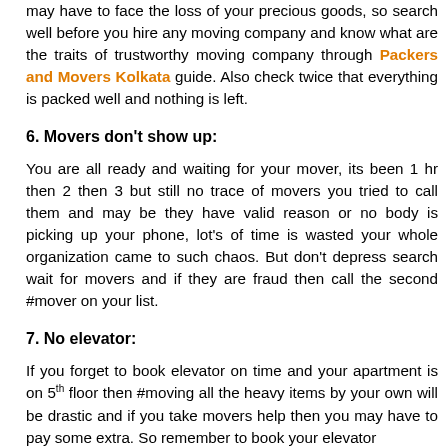may have to face the loss of your precious goods, so search well before you hire any moving company and know what are the traits of trustworthy moving company through Packers and Movers Kolkata guide. Also check twice that everything is packed well and nothing is left.
6. Movers don't show up:
You are all ready and waiting for your mover, its been 1 hr then 2 then 3 but still no trace of movers you tried to call them and may be they have valid reason or no body is picking up your phone, lot's of time is wasted your whole organization came to such chaos. But don't depress search wait for movers and if they are fraud then call the second #mover on your list.
7. No elevator:
If you forget to book elevator on time and your apartment is on 5th floor then #moving all the heavy items by your own will be drastic and if you take movers help then you may have to pay some extra. So remember to book your elevator